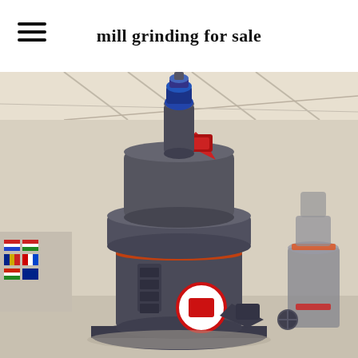mill grinding for sale
[Figure (photo): Industrial grinding mill machine photographed in a warehouse/factory setting. The machine is a large cylindrical tower-style grinding mill in dark grey/charcoal color with orange accent ring, red hopper on top, and a blue motor/coupling at the apex. A circular red-and-white warning sign is visible near the base. A second smaller similar mill is visible in the background to the right. Colorful international flags are visible on the left background. The warehouse has a steel truss roof structure.]